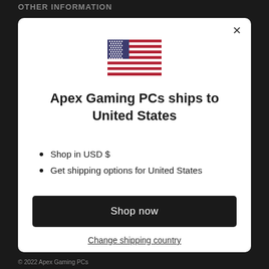OTHER INFORMATION
[Figure (illustration): US flag SVG illustration]
Apex Gaming PCs ships to United States
Shop in USD $
Get shipping options for United States
Shop now
Change shipping country
© 2022 Apex Gaming PCs